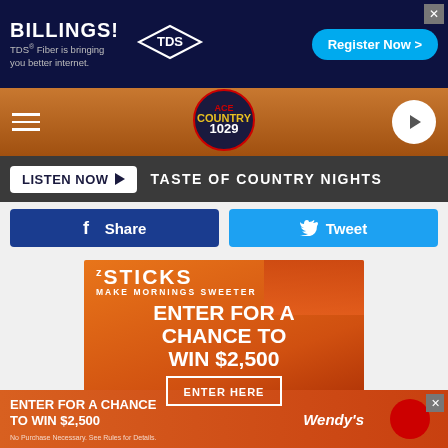[Figure (screenshot): TDS Fiber advertisement banner - dark blue background with 'BILLINGS!' in white bold text, TDS diamond logo, subtitle 'TDS Fiber is bringing you better internet.', and 'Register Now >' button in cyan]
[Figure (screenshot): Radio station navigation bar with hamburger menu on left, ACE Country 1029 circular logo in center on wood/orange background, and white play button circle on right]
[Figure (screenshot): Listen bar with 'LISTEN NOW' white button with play arrow and 'TASTE OF COUNTRY NIGHTS' text in white on dark background]
[Figure (screenshot): Social sharing buttons: dark blue Facebook Share button and cyan Twitter Tweet button]
[Figure (advertisement): Wendy's French Toast Sticks sweepstakes ad on orange/red gradient background. Text: 'STICKS MAKE MORNINGS SWEETER', 'ENTER FOR A CHANCE TO WIN $2,500', 'ENTER HERE' button, 'www.WendysFrenchToastSticksSweeps.com', 'No Purchase Necessary. See Rules for Details.']
[Figure (advertisement): Bottom banner ad for Wendy's: 'ENTER FOR A CHANCE TO WIN $2,500' with Wendy's logo and 'No Purchase Necessary. See Rules for Details.' on orange/red background]